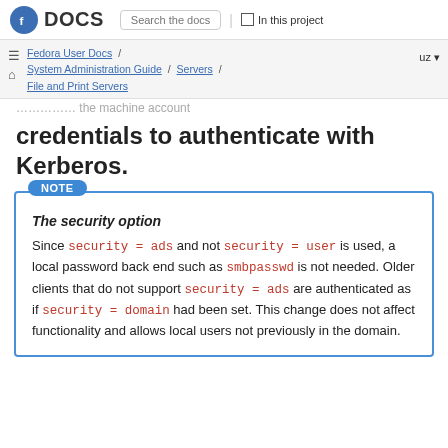Fedora DOCS | Search the docs | In this project
Fedora User Docs / System Administration Guide / Servers / File and Print Servers | uz
credentials to authenticate with Kerberos.
NOTE
The security option
Since security = ads and not security = user is used, a local password back end such as smbpasswd is not needed. Older clients that do not support security = ads are authenticated as if security = domain had been set. This change does not affect functionality and allows local users not previously in the domain.